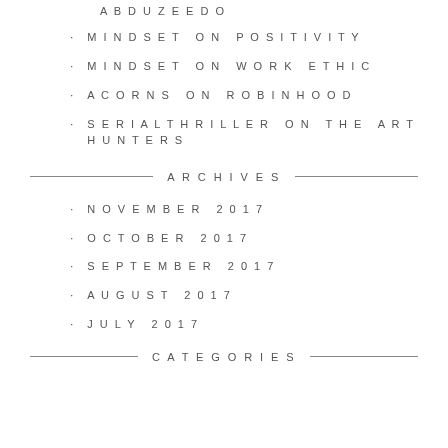ABDUZEEDO
MINDSET ON POSITIVITY
MINDSET ON WORK ETHIC
ACORNS ON ROBINHOOD
SERIALTHRILLER ON THE ART HUNTERS
ARCHIVES
NOVEMBER 2017
OCTOBER 2017
SEPTEMBER 2017
AUGUST 2017
JULY 2017
CATEGORIES